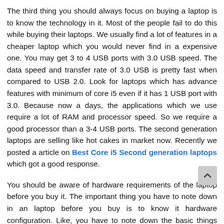The third thing you should always focus on buying a laptop is to know the technology in it. Most of the people fail to do this while buying their laptops. We usually find a lot of features in a cheaper laptop which you would never find in a expensive one. You may get 3 to 4 USB ports with 3.0 USB speed. The data speed and transfer rate of 3.0 USB is pretty fast when compared to USB 2.0. Look for laptops which has advance features with minimum of core i5 even if it has 1 USB port with 3.0. Because now a days, the applications which we use require a lot of RAM and processor speed. So we require a good processor than a 3-4 USB ports. The second generation laptops are selling like hot cakes in market now. Recently we posted a article on Best Core i5 Second generation laptops which got a good response.
You should be aware of hardware requirements of the laptop before you buy it. The important thing you have to note down in an laptop before you buy is to know it hardware configuration. Like, you have to note down the basic things which you require. Like number of ports, Size of RAM, Type of processor, Screen size, Clock speed and Variant, Size of hard disk, Motherboard and etc. May be you can